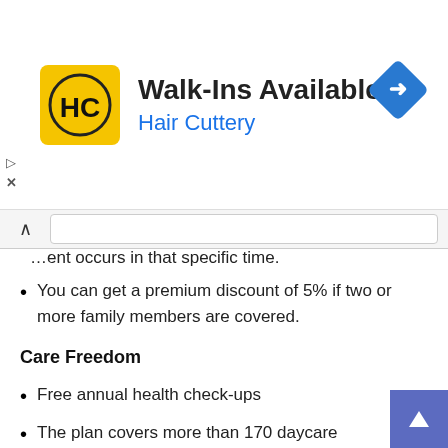[Figure (infographic): Hair Cuttery advertisement banner with HC logo, 'Walk-Ins Available' heading, 'Hair Cuttery' subtitle in blue, and a navigation arrow icon]
…ent occurs in that specific time.
You can get a premium discount of 5% if two or more family members are covered.
Care Freedom
Free annual health check-ups
The plan covers more than 170 daycare procedures.
In case of hospitalization for one day or more, you can get a regular discount for reaching the costs of hospitalization.
It also allows the claim of dialysis of Rs 1000 for one